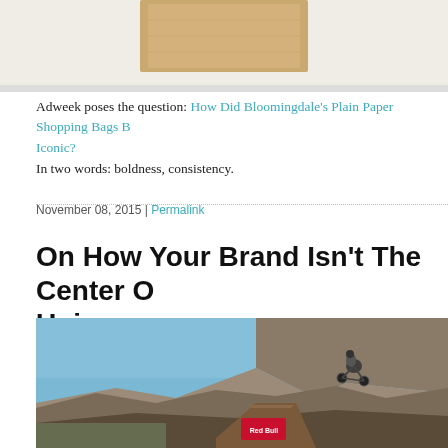[Figure (photo): Partial image at top of page showing what appears to be a wooden cube or block object against a light background]
Adweek poses the question: How Did Bloomingdale's Plain Paper Shopping Bags Become Iconic?
In two words: boldness, consistency.
November 08, 2015 | Permalink
On How Your Brand Isn't The Center Of The Universe
[Figure (photo): A mountain biker performing a large jump in the air against a backdrop of rocky canyon cliffs and blue sky. A Red Bull branded ramp is visible below.]